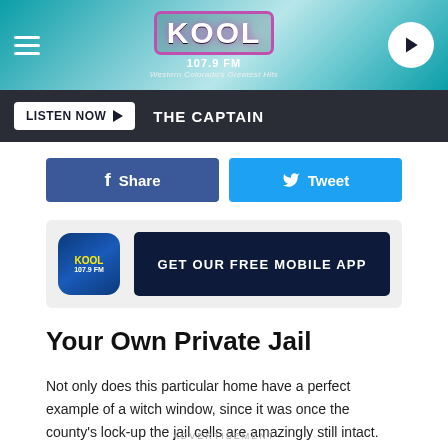KOOL 107.9 FM — Western Colorado's Greatest Hits
LISTEN NOW ▶  THE CAPTAIN
Share   Tweet
GET OUR FREE MOBILE APP
Your Own Private Jail
Not only does this particular home have a perfect example of a witch window, since it was once the county's lock-up the jail cells are amazingly still intact.
ADVERTISEMENT